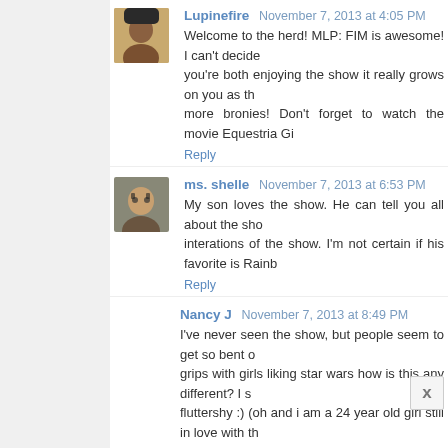Lupinefire  November 7, 2013 at 4:05 PM
Welcome to the herd! MLP: FIM is awesome! I can't decide...you're both enjoying the show it really grows on you as th...more bronies! Don't forget to watch the movie Equestria Gi...
Reply
ms. shelle  November 7, 2013 at 6:53 PM
My son loves the show. He can tell you all about the sho...interations of the show. I'm not certain if his favorite is Rainb...
Reply
Nancy J  November 7, 2013 at 8:49 PM
I've never seen the show, but people seem to get so bent o...grips with girls liking star wars how is this any different? I s...fluttershy :) (oh and i am a 24 year old girl still in love with th...
Reply
Mello  November 7, 2013 at 8:51 PM
I made my husband watch the episode where John d...